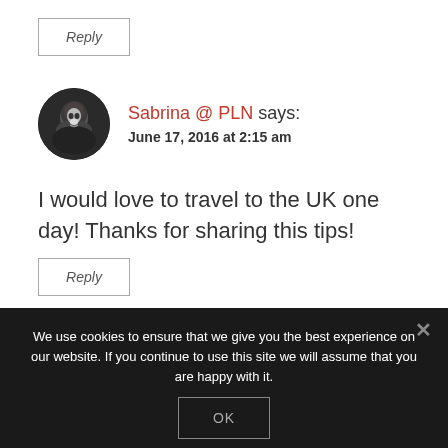Reply
[Figure (photo): Circular avatar photo of a young woman with dark hair, black and white photo style]
Sabrina @ PLN says: June 17, 2016 at 2:15 am
I would love to travel to the UK one day! Thanks for sharing this tips!
Reply
We use cookies to ensure that we give you the best experience on our website. If you continue to use this site we will assume that you are happy with it.
OK